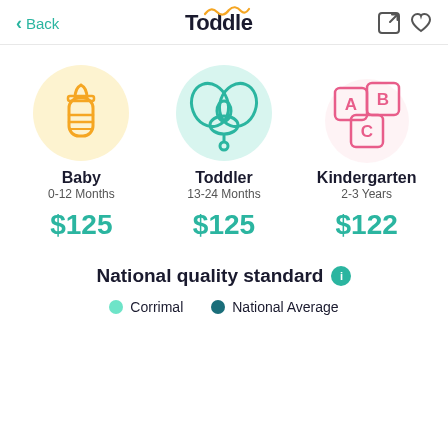Back | Toddle
[Figure (illustration): Three category icons: baby bottle (orange on yellow circle), pacifier (teal on teal circle), ABC blocks (pink)]
Baby
0-12 Months
$125
Toddler
13-24 Months
$125
Kindergarten
2-3 Years
$122
National quality standard
Corrimal | National Average